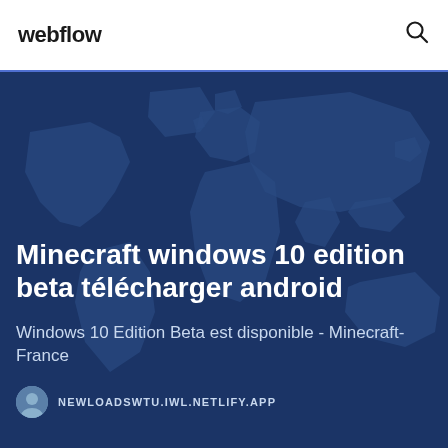webflow
[Figure (map): World map silhouette in dark blue tones used as hero background]
Minecraft windows 10 edition beta télécharger android
Windows 10 Edition Beta est disponible - Minecraft-France
NEWLOADSWTU.IWL.NETLIFY.APP